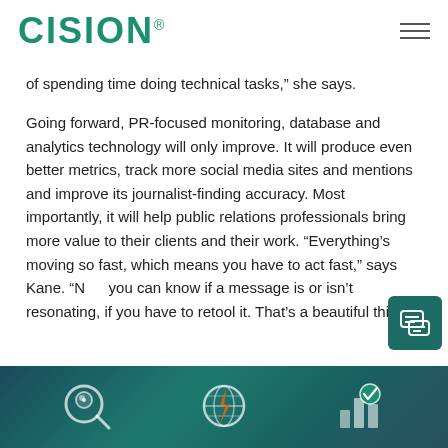CISION
of spending time doing technical tasks,” she says.
Going forward, PR-focused monitoring, database and analytics technology will only improve. It will produce even better metrics, track more social media sites and mentions and improve its journalist-finding accuracy. Most importantly, it will help public relations professionals bring more value to their clients and their work. “Everything’s moving so fast, which means you have to act fast,” says Kane. “Now you can know if a message is or isn’t resonating, if you have to retool it. That’s a beautiful thing.”
[Figure (illustration): Dark teal/blue decorative banner with three icons: a magnifying glass with a face, a globe with a lightning bolt, and a bar chart with a checkmark. Partial view at bottom of page.]